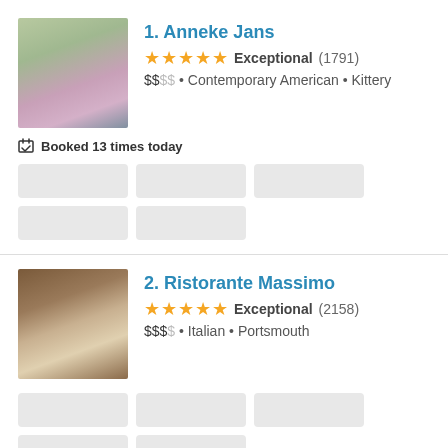1. Anneke Jans
Exceptional (1791) $$  Contemporary American • Kittery
Booked 13 times today
[Figure (other): Time slot selection buttons (gray placeholders)]
2. Ristorante Massimo
Exceptional (2158) $$$  Italian • Portsmouth
[Figure (other): Time slot selection buttons (gray placeholders)]